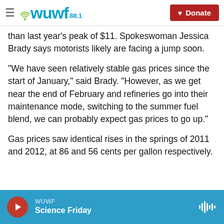WUWF 88.1 | Donate
than last year's peak of $11. Spokeswoman Jessica Brady says motorists likely are facing a jump soon.
“We have seen relatively stable gas prices since the start of January,” said Brady. “However, as we get near the end of February and refineries go into their maintenance mode, switching to the summer fuel blend, we can probably expect gas prices to go up.”
Gas prices saw identical rises in the springs of 2011 and 2012, at 86 and 56 cents per gallon respectively.
WUWF Science Friday